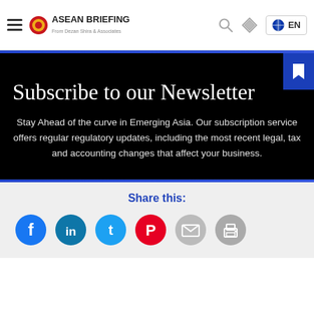ASEAN Briefing
Subscribe to our Newsletter
Stay Ahead of the curve in Emerging Asia. Our subscription service offers regular regulatory updates, including the most recent legal, tax and accounting changes that affect your business.
Share this: